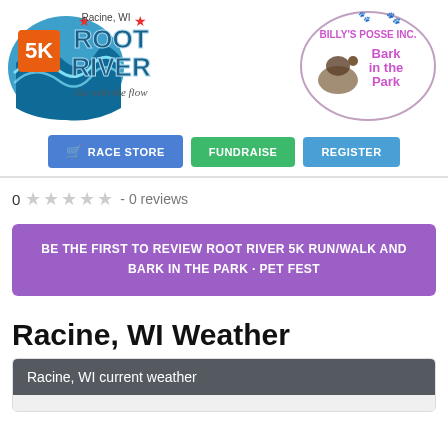[Figure (logo): Root River 5K run logo with blue river wave, orange 5K text, and 'Go with the flow' tagline, Racine WI text with red stars]
[Figure (logo): Billy's Posse Inc. Bark in the Park logo with dog silhouette and paw prints]
[Figure (infographic): Three buttons: RACE STORE (blue with cart icon), FUNDRAISE (green), REGISTER (light blue)]
0 - 0 reviews
BE THE FIRST TO REVIEW ROOT RIVER 5K RUN/WALK AND BARK IN THE PARK · PET FEST
Racine, WI Weather
Racine, WI current weather